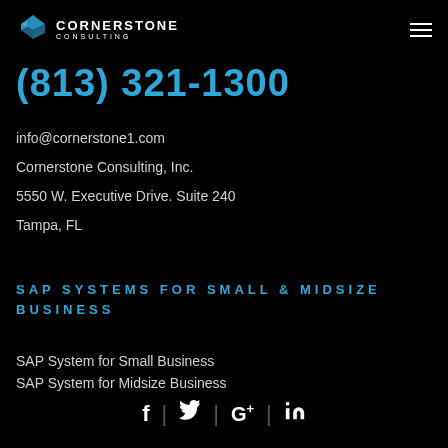[Figure (logo): Cornerstone Consulting logo with diamond/cube icon and text]
(813) 321-1300
info@cornerstone1.com
Cornerstone Consulting, Inc.
5550 W. Executive Drive. Suite 240
Tampa, FL
SAP SYSTEMS FOR SMALL & MIDSIZE BUSINESS
SAP System for Small Business
SAP System for Midsize Business
[Figure (other): Social media icons: Facebook, Twitter, Google+, LinkedIn]